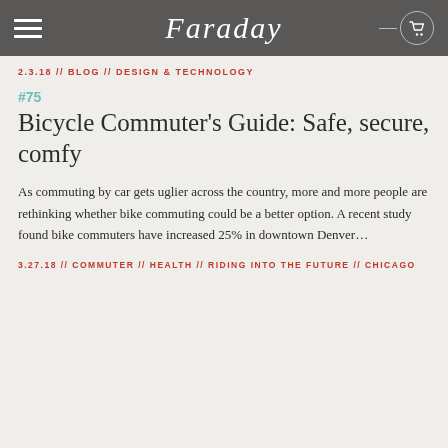Faraday
2.3.18 // BLOG // DESIGN & TECHNOLOGY
#75
Bicycle Commuter's Guide: Safe, secure, comfy
As commuting by car gets uglier across the country, more and more people are rethinking whether bike commuting could be a better option. A recent study found bike commuters have increased 25% in downtown Denver…
3.27.18 // COMMUTER // HEALTH // RIDING INTO THE FUTURE // CHICAGO